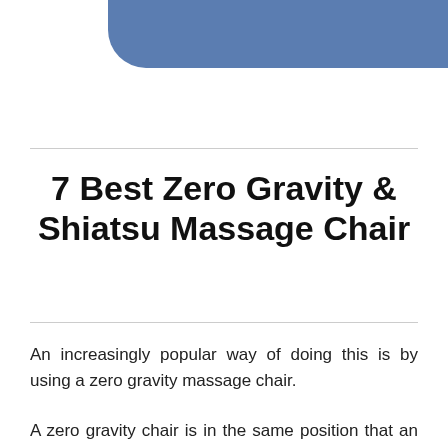7 Best Zero Gravity & Shiatsu Massage Chair
An increasingly popular way of doing this is by using a zero gravity massage chair.
A zero gravity chair is in the same position that an astronaut sits in when in a NASA spacecraft simulator. It's a position that distributes the